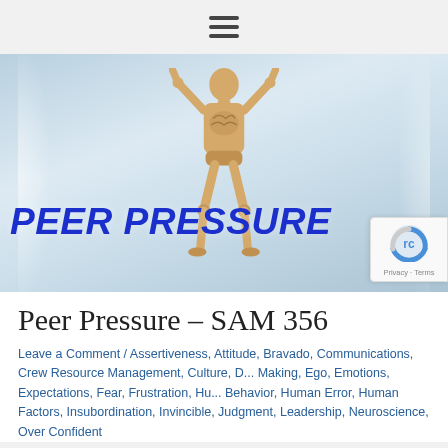☰ (hamburger menu icon)
[Figure (illustration): A wooden articulated human figure (artist's mannequin) standing with arms raised inside a glass jar or bottle, with bold italic blue text 'PEER PRESSURE' overlaid across the middle of the image. Background is a light blue-grey gradient suggesting glass.]
Peer Pressure – SAM 356
Leave a Comment / Assertiveness, Attitude, Bravado, Communications, Crew Resource Management, Culture, D... Making, Ego, Emotions, Expectations, Fear, Frustration, Hu... Behavior, Human Error, Human Factors, Insubordination, Invincible, Judgment, Leadership, Neuroscience, Over Confident